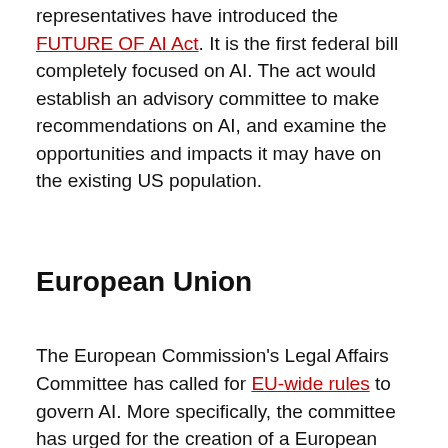representatives have introduced the FUTURE OF AI Act. It is the first federal bill completely focused on AI. The act would establish an advisory committee to make recommendations on AI, and examine the opportunities and impacts it may have on the existing US population.
European Union
The European Commission's Legal Affairs Committee has called for EU-wide rules to govern AI. More specifically, the committee has urged for the creation of a European agency that would be responsible for AI regulation.
It also calls for the creation of a distinct legal status for robots and a mandatory insurance scheme to